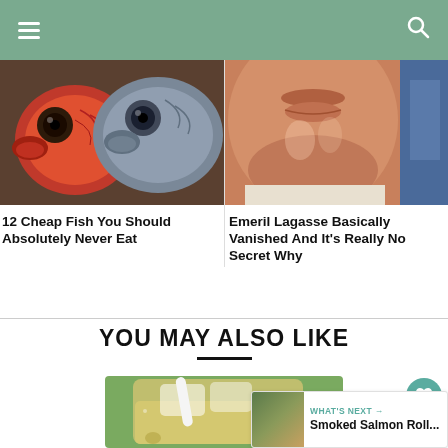Navigation header with hamburger menu and search icon
[Figure (photo): Two fish heads close-up, one orange-red and one gray]
12 Cheap Fish You Should Absolutely Never Eat
[Figure (photo): Close-up of a man's lower face (Emeril Lagasse)]
Emeril Lagasse Basically Vanished And It's Really No Secret Why
YOU MAY ALSO LIKE
[Figure (photo): A mason jar with an iced smoothie/drink and a white straw]
WHAT'S NEXT → Smoked Salmon Roll...